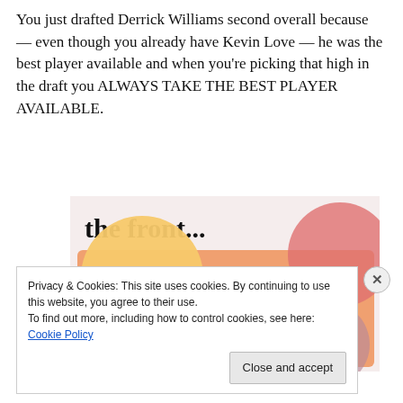You just drafted Derrick Williams second overall because — even though you already have Kevin Love — he was the best player available and when you're picking that high in the draft you ALWAYS TAKE THE BEST PLAYER AVAILABLE.
[Figure (illustration): Advertisement banner showing 'the front...' text at top on light pink background, with an orange box below showing 'WordPress in the back.' text with decorative circles in yellow, red, and mauve.]
Privacy & Cookies: This site uses cookies. By continuing to use this website, you agree to their use.
To find out more, including how to control cookies, see here: Cookie Policy